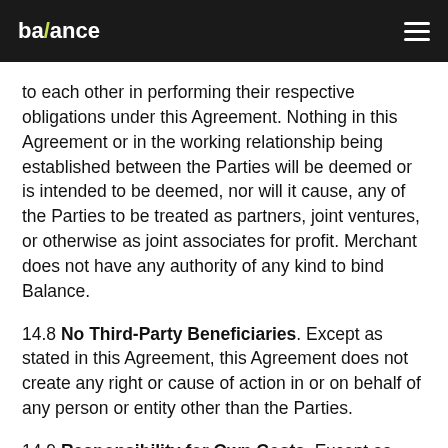ba/ance
to each other in performing their respective obligations under this Agreement. Nothing in this Agreement or in the working relationship being established between the Parties will be deemed or is intended to be deemed, nor will it cause, any of the Parties to be treated as partners, joint ventures, or otherwise as joint associates for profit. Merchant does not have any authority of any kind to bind Balance.
14.8 No Third-Party Beneficiaries. Except as stated in this Agreement, this Agreement does not create any right or cause of action in or on behalf of any person or entity other than the Parties.
14.9 Responsibility for Own Costs. Except as otherwise expressly stated, as between the Parties, each Party will be responsible for